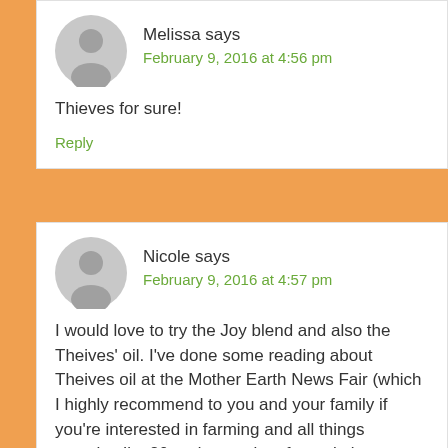Melissa says
February 9, 2016 at 4:56 pm
Thieves for sure!
Reply
Nicole says
February 9, 2016 at 4:57 pm
I would love to try the Joy blend and also the Theives' oil. I've done some reading about Theives oil at the Mother Earth News Fair (which I highly recommend to you and your family if you're interested in farming and all things crunchy. I'm 20 and met a lot of people in my age group with